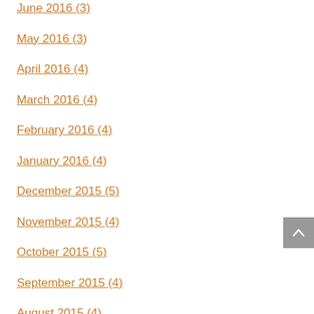June 2016 (3)
May 2016 (3)
April 2016 (4)
March 2016 (4)
February 2016 (4)
January 2016 (4)
December 2015 (5)
November 2015 (4)
October 2015 (5)
September 2015 (4)
August 2015 (4)
July 2015 (5)
June 2015 (4)
May 2015 (4)